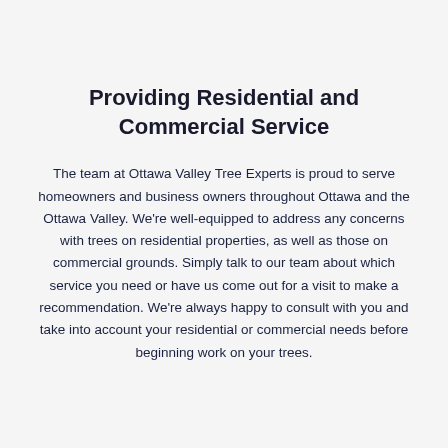Providing Residential and Commercial Service
The team at Ottawa Valley Tree Experts is proud to serve homeowners and business owners throughout Ottawa and the Ottawa Valley. We're well-equipped to address any concerns with trees on residential properties, as well as those on commercial grounds. Simply talk to our team about which service you need or have us come out for a visit to make a recommendation. We're always happy to consult with you and take into account your residential or commercial needs before beginning work on your trees.